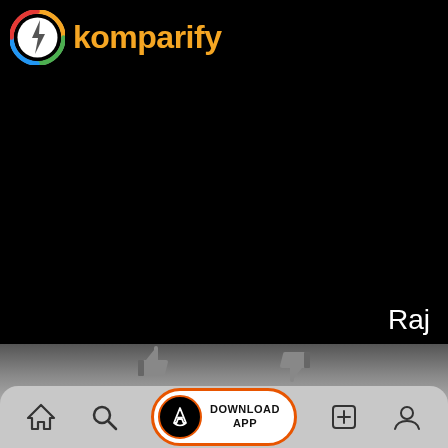[Figure (logo): Komparify app logo: circular icon with lightning bolt and multicolor ring, followed by orange text 'komparify']
[Figure (screenshot): Black content area with 'Raj' text visible in lower right]
[Figure (infographic): App bottom navigation bar with thumbs up/down icons, Download App button with App Store icon, home, search, add, and profile icons on a gray gradient background]